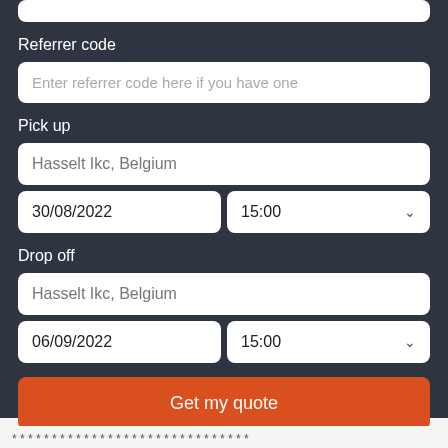Referrer code
Enter referrer code here if you have one
Pick up
Hasselt Ikc, Belgium
30/08/2022
15:00
Drop off
Hasselt Ikc, Belgium
06/09/2022
15:00
Get my quote
* * * * * * * * * * * * * * * * * * * * * *